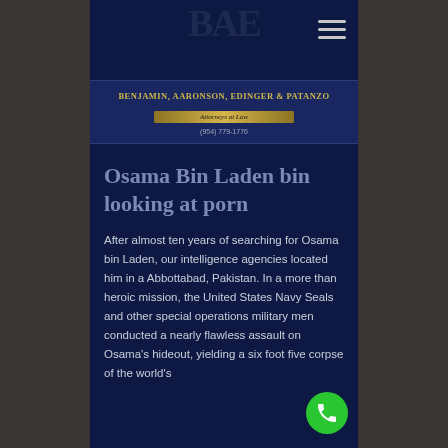BENJAMIN, AARONSON, EDINGER & PATANZO — Attorneys at Law — (954) 779-1776
Osama Bin Laden bin looking at porn
After almost ten years of searching for Osama bin Laden, our intelligence agencies located him in a Abbottabad, Pakistan. In a more than heroic mission, the United States Navy Seals and other special operations military men conducted a nearly flawless assault on Osama's hideout, yielding a six foot five corpse of the world's